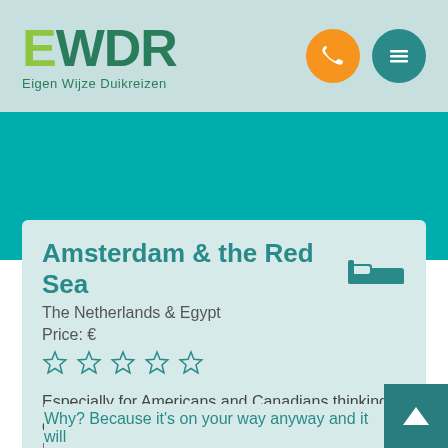[Figure (logo): EWDR logo with green E and dark green WDR letters, subtitle Eigen Wijze Duikreizen]
[Figure (other): Orange phone icon circle and teal menu/hamburger icon circle]
Amsterdam & the Red Sea
The Netherlands & Egypt
Price: €
[Figure (other): Five empty star rating icons in teal outline]
Especially for Americans and Canadians thinking of diving in The Red Sea; a stop over in The Netherlands.
Why? Because it's on your way anyway and it will